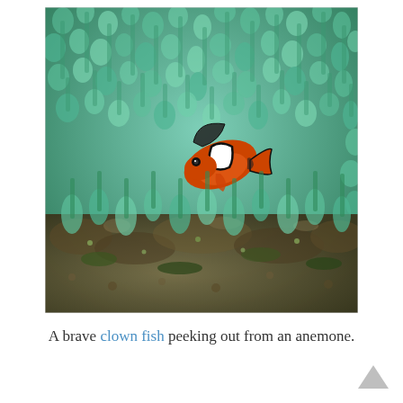[Figure (photo): Close-up underwater photograph of a clownfish (orange with white stripe and black edges) peeking out from among the green tentacles of a sea anemone. The anemone tentacles are numerous, rounded at the tips, and glow with a teal-green color. The lower portion shows rocky reef substrate with algae.]
A brave clown fish peeking out from an anemone.